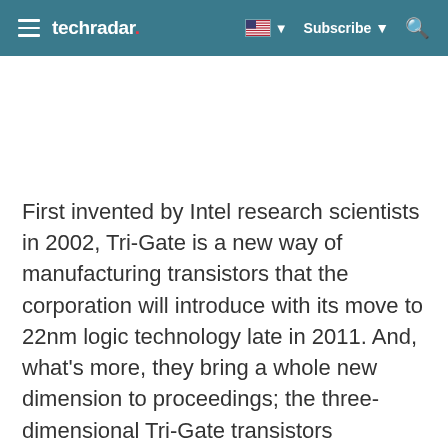techradar  Subscribe
First invented by Intel research scientists in 2002, Tri-Gate is a new way of manufacturing transistors that the corporation will introduce with its move to 22nm logic technology late in 2011. And, what's more, they bring a whole new dimension to proceedings; the three-dimensional Tri-Gate transistors represent a fundamental departure from the two-dimensional planar transistor structure that has powered all consumer electronics devices to date.